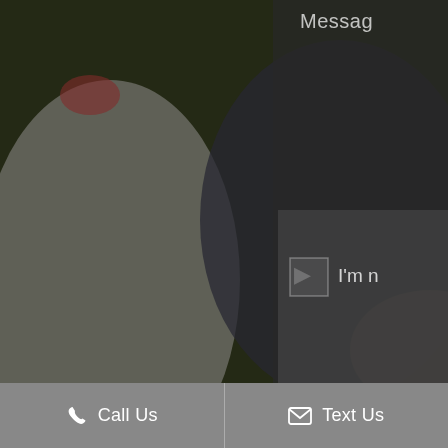[Figure (photo): Background photo of people sitting on grass outdoors, partially visible, with a dark semi-transparent overlay. Right side shows a darker panel with 'Message' label and a form-like box with 'I'm n...' text. A gold/yellow bar appears at the bottom of the right panel.]
Sitemap | Accessibility | Privacy Policy | Website by Jet Digital